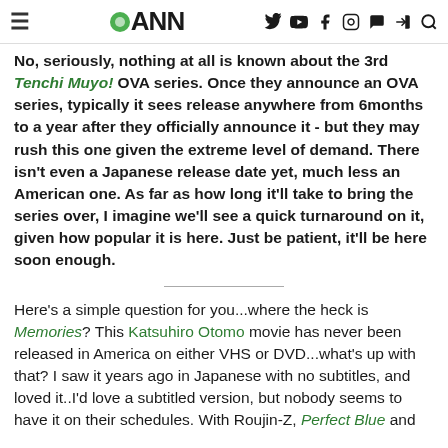≡ ANN [social icons]
No, seriously, nothing at all is known about the 3rd Tenchi Muyo! OVA series. Once they announce an OVA series, typically it sees release anywhere from 6months to a year after they officially announce it - but they may rush this one given the extreme level of demand. There isn't even a Japanese release date yet, much less an American one. As far as how long it'll take to bring the series over, I imagine we'll see a quick turnaround on it, given how popular it is here. Just be patient, it'll be here soon enough.
Here's a simple question for you...where the heck is Memories? This Katsuhiro Otomo movie has never been released in America on either VHS or DVD...what's up with that? I saw it years ago in Japanese with no subtitles, and loved it..I'd love a subtitled version, but nobody seems to have it on their schedules. With Roujin-Z, Perfect Blue and